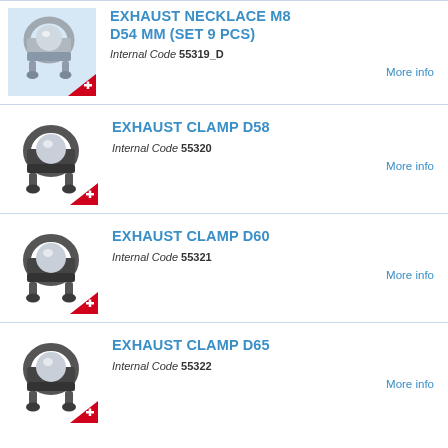[Figure (photo): Exhaust necklace clamp M8 D54mm, metallic U-bolt clamp with nuts, on light blue background with Swiss flag badge]
EXHAUST NECKLACE M8 D54 MM (SET 9 PCS)
Internal Code 55319_D
More info
[Figure (photo): Exhaust clamp D58, dark metallic U-bolt clamp, with Swiss flag badge]
EXHAUST CLAMP D58
Internal Code 55320
More info
[Figure (photo): Exhaust clamp D60, dark metallic U-bolt clamp, with Swiss flag badge]
EXHAUST CLAMP D60
Internal Code 55321
More info
[Figure (photo): Exhaust clamp D65, dark metallic U-bolt clamp, with Swiss flag badge]
EXHAUST CLAMP D65
Internal Code 55322
More info